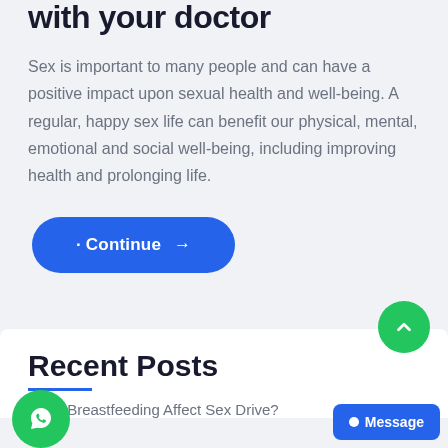with your doctor
Sex is important to many people and can have a positive impact upon sexual health and well-being. A regular, happy sex life can benefit our physical, mental, emotional and social well-being, including improving health and prolonging life.
Recent Posts
Does Breastfeeding Affect Sex Drive?